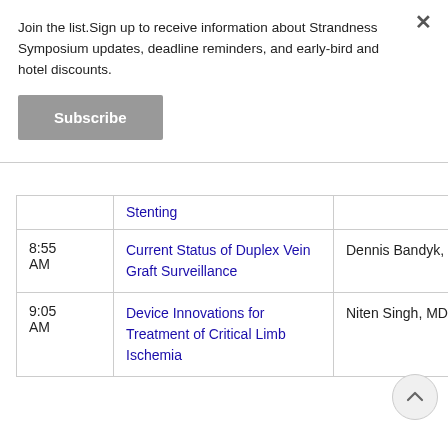Join the list.Sign up to receive information about Strandness Symposium updates, deadline reminders, and early-bird and hotel discounts.
|  | Topic | Speaker |
| --- | --- | --- |
|  | Stenting |  |
| 8:55 AM | Current Status of Duplex Vein Graft Surveillance | Dennis Bandyk, MD |
| 9:05 AM | Device Innovations for Treatment of Critical Limb Ischemia | Niten Singh, MD |